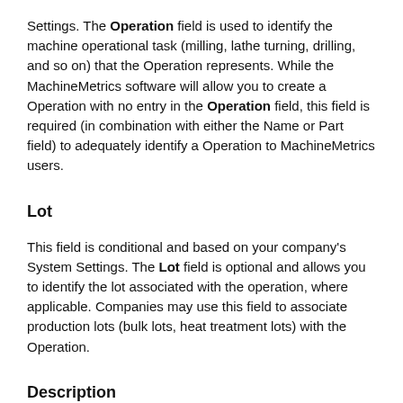Settings. The Operation field is used to identify the machine operational task (milling, lathe turning, drilling, and so on) that the Operation represents. While the MachineMetrics software will allow you to create a Operation with no entry in the Operation field, this field is required (in combination with either the Name or Part field) to adequately identify a Operation to MachineMetrics users.
Lot
This field is conditional and based on your company's System Settings. The Lot field is optional and allows you to identify the lot associated with the operation, where applicable. Companies may use this field to associate production lots (bulk lots, heat treatment lots) with the Operation.
Description
The Description field is optional and allows you to enter descriptive text that may help identify the Operation in MachineMetrics users. This field is